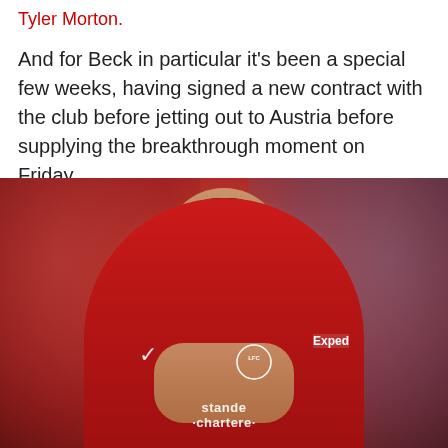Tyler Morton.
And for Beck in particular it's been a special few weeks, having signed a new contract with the club before jetting out to Austria before supplying the breakthrough moment on Friday.
[Figure (photo): A Liverpool FC player wearing the red Liverpool kit (with LFC badge, Nike swoosh, Standard Chartered and Expedia sponsorship) clapping hands together, smiling, photographed at a stadium with a blurred crowd background.]